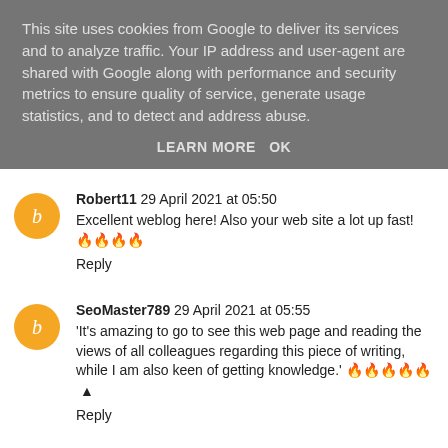This site uses cookies from Google to deliver its services and to analyze traffic. Your IP address and user-agent are shared with Google along with performance and security metrics to ensure quality of service, generate usage statistics, and to detect and address abuse.
LEARN MORE   OK
Robert11 29 April 2021 at 05:50
Excellent weblog here! Also your web site a lot up fast! 🔥🔥🔥🔥
Reply
SeoMaster789 29 April 2021 at 05:55
'It's amazing to go to see this web page and reading the views of all colleagues regarding this piece of writing, while I am also keen of getting knowledge.' 🔥🔥🔥🔥🔥
Reply
Smith Karl 29 April 2021 at 06:52